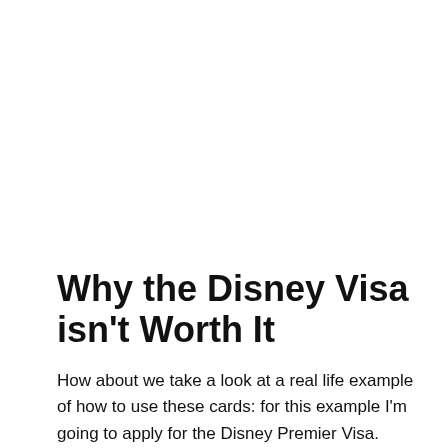Why the Disney Visa isn't Worth It
How about we take a look at a real life example of how to use these cards: for this example I'm going to apply for the Disney Premier Visa. Spending $500 in 3 months isn't a big deal so I'll get my $200 Disney gift card which is more like $151 because of the $49 annual fee which isn't waived the first year.